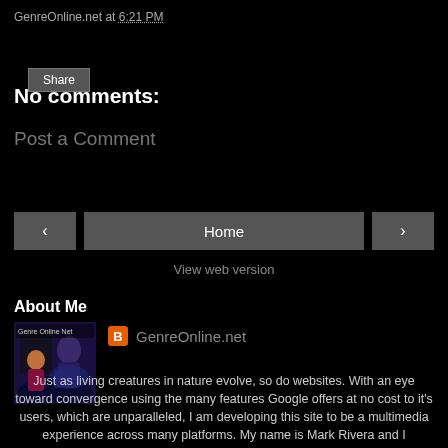GenreOnline.net at 6:21 PM
Share
No comments:
Post a Comment
< Home >
View web version
About Me
[Figure (photo): Genre Online Net logo/thumbnail showing sci-fi scene with figures]
GenreOnline.net
Just as living creatures in nature evolve, so do websites. With an eye toward convergence using the many features Google offers at no cost to it's users, which are unparalleled, I am developing this site to be a multimedia experience across many platforms. My name is Mark Rivera and I